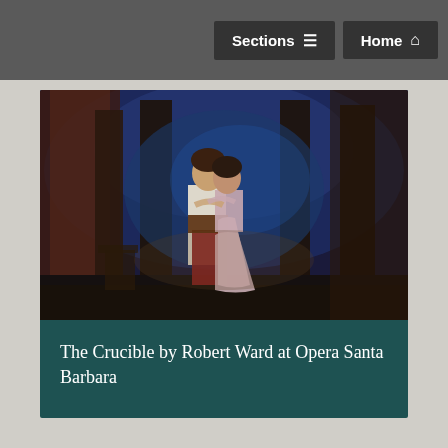Sections  Home
[Figure (photo): Stage performance photo showing two performers in period costume embracing. The setting is an opera stage with dark blue atmospheric background featuring tall pillar-like set pieces. One performer wears a white shirt with dark belt and red/dark trousers, the other wears a light pink period dress. They are in an intimate embrace center stage.]
The Crucible by Robert Ward at Opera Santa Barbara